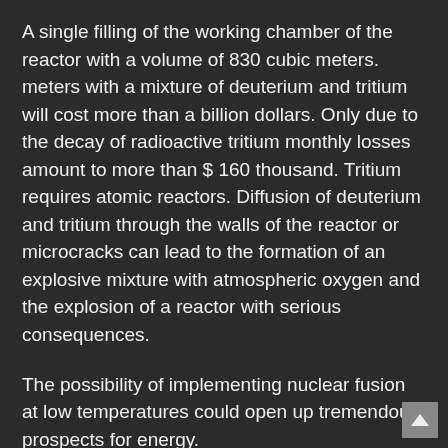A single filling of the working chamber of the reactor with a volume of 830 cubic meters. meters with a mixture of deuterium and tritium will cost more than a billion dollars. Only due to the decay of radioactive tritium monthly losses amount to more than $ 160 thousand. Tritium requires atomic reactors. Diffusion of deuterium and tritium through the walls of the reactor or microcracks can lead to the formation of an explosive mixture with atmospheric oxygen and the explosion of a reactor with serious consequences.
The possibility of implementing nuclear fusion at low temperatures could open up tremendous prospects for energy.
About a hundred groups around the world tried to reproduce the experiments of Fleischmann and Pons [30]. The most convincing results were obtained in Japan